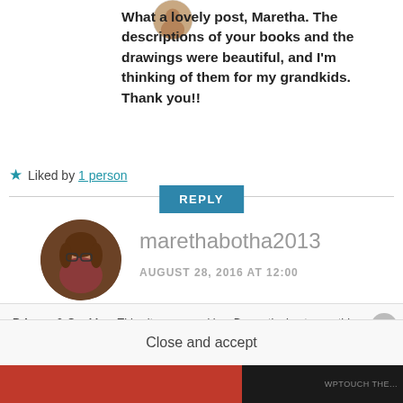[Figure (photo): Circular avatar/profile photo at top, partially cropped]
What a lovely post, Maretha. The descriptions of your books and the drawings were beautiful, and I'm thinking of them for my grandkids. Thank you!!
★ Liked by 1 person
REPLY
[Figure (photo): Circular profile photo of marethabotha2013, a woman with glasses and brown hair]
marethabotha2013
AUGUST 28, 2016 AT 12:00
Privacy & Cookies: This site uses cookies. By continuing to use this website, you agree to their use.
To find out more, including how to control cookies, see here: Cookie Policy
Close and accept